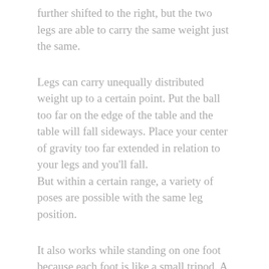further shifted to the right, but the two legs are able to carry the same weight just the same.
Legs can carry unequally distributed weight up to a certain point. Put the ball too far on the edge of the table and the table will fall sideways. Place your center of gravity too far extended in relation to your legs and you'll fall.
But within a certain range, a variety of poses are possible with the same leg position.
It also works while standing on one foot because each foot is like a small tripod. A small tripod can balance a small area of weight distribution over it (or a small surface on which objects can be safely placed without toppling the table over to use that metaphor).